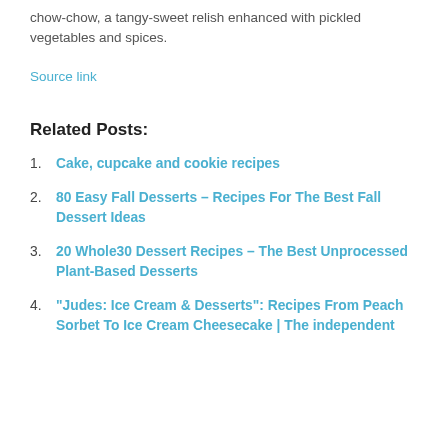chow-chow, a tangy-sweet relish enhanced with pickled vegetables and spices.
Source link
Related Posts:
Cake, cupcake and cookie recipes
80 Easy Fall Desserts – Recipes For The Best Fall Dessert Ideas
20 Whole30 Dessert Recipes – The Best Unprocessed Plant-Based Desserts
"Judes: Ice Cream & Desserts": Recipes From Peach Sorbet To Ice Cream Cheesecake | The independent